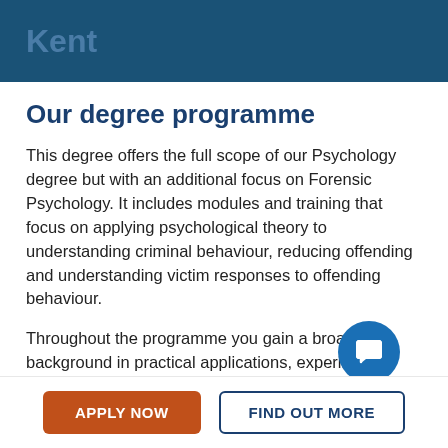Kent
Our degree programme
This degree offers the full scope of our Psychology degree but with an additional focus on Forensic Psychology. It includes modules and training that focus on applying psychological theory to understanding criminal behaviour, reducing offending and understanding victim responses to offending behaviour.
Throughout the programme you gain a broad background in practical applications, experimental